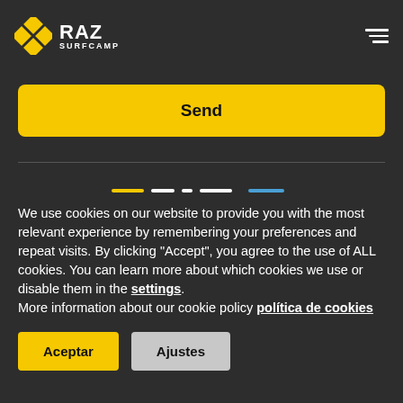RAZ SURFCAMP
Send
[Figure (other): Carousel navigation dots: yellow bar, white bars, blue bar]
We use cookies on our website to provide you with the most relevant experience by remembering your preferences and repeat visits. By clicking "Accept", you agree to the use of ALL cookies. You can learn more about which cookies we use or disable them in the settings. More information about our cookie policy politica de cookies
Aceptar
Ajustes